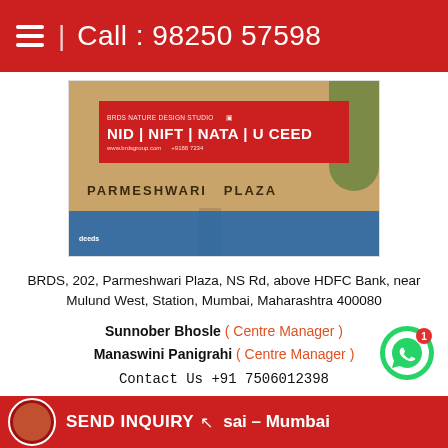Call : 98250 57598
[Figure (photo): Photo of Parmeshwari Plaza building exterior showing BRDS NID NIFT NATA UCEED banner in red]
BRDS, 202, Parmeshwari Plaza, NS Rd, above HDFC Bank, near Mulund West, Station, Mumbai, Maharashtra 400080
Sunnober Bhosle ( Centre Manager )
Manaswini Panigrahi ( Centre Manager )
Contact Us +91 7506012398
Find BRDS Mulund on Google Maps
SEND INQUIRY  sai – Mumbai